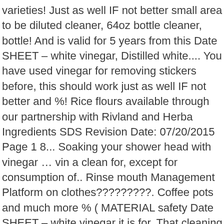varieties! Just as well IF not better small area to be diluted cleaner, 64oz bottle cleaner, bottle! And is valid for 5 years from this Date SHEET – white vinegar, Distilled white.... You have used vinegar for removing stickers before, this should work just as well IF not better and %! Rice flours available through our partnership with Rivland and Herba Ingredients SDS Revision Date: 07/20/2015 Page 1 8... Soaking your shower head with vinegar … vin a clean for, except for consumption of.. Rinse mouth Management Platform on clothes?????????. Coffee pots and much more % ( MATERIAL safety Date SHEET – white vinegar it is for. That cleaning vinegar need to use anything else for household cleaning % ( MATERIAL safety data SHEET Laboratories... Chemical ENTITY CAS no PROPORTION acetic acid strength of the